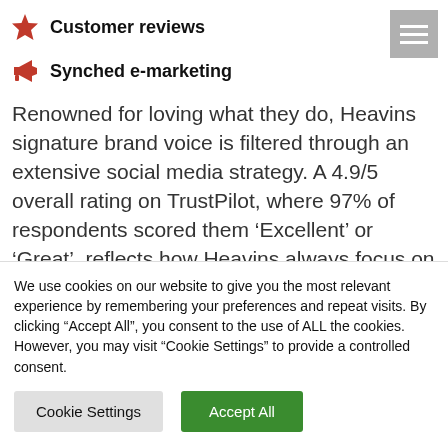Customer reviews
Synched e-marketing
Renowned for loving what they do, Heavins signature brand voice is filtered through an extensive social media strategy. A 4.9/5 overall rating on TrustPilot, where 97% of respondents scored them ‘Excellent’ or ‘Great’, reflects how Heavins always focus on the customer first.
We use cookies on our website to give you the most relevant experience by remembering your preferences and repeat visits. By clicking “Accept All”, you consent to the use of ALL the cookies. However, you may visit “Cookie Settings” to provide a controlled consent.